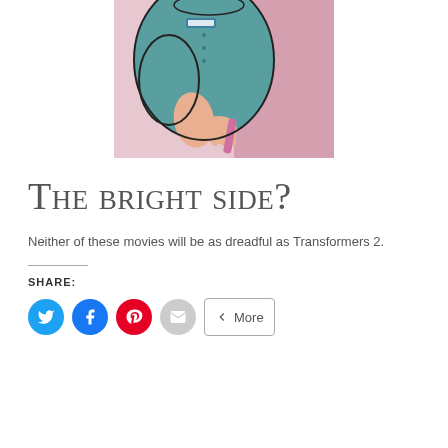[Figure (illustration): Comic book style illustration of a nurse or healthcare worker in teal/green scrubs holding something, with pink background]
The bright side?
Neither of these movies will be as dreadful as Transformers 2.
Share: [Twitter] [Facebook] [Pinterest] [Email] < More